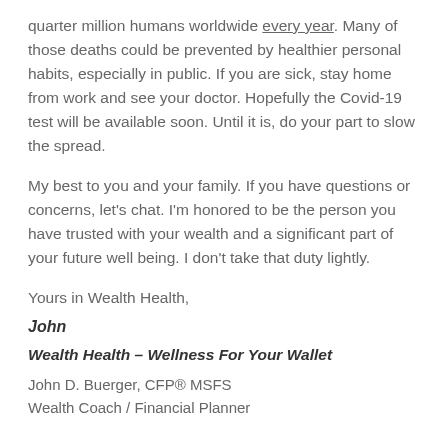quarter million humans worldwide every year. Many of those deaths could be prevented by healthier personal habits, especially in public. If you are sick, stay home from work and see your doctor. Hopefully the Covid-19 test will be available soon. Until it is, do your part to slow the spread.
My best to you and your family. If you have questions or concerns, let's chat. I'm honored to be the person you have trusted with your wealth and a significant part of your future well being. I don't take that duty lightly.
Yours in Wealth Health,
John
Wealth Health – Wellness For Your Wallet
John D. Buerger, CFP® MSFS
Wealth Coach / Financial Planner